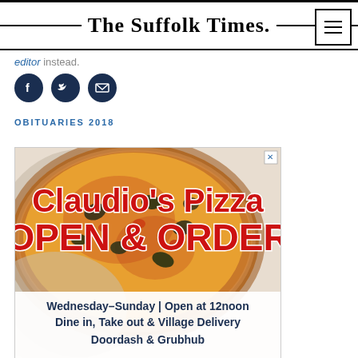The Suffolk Times.
editor instead.
[Figure (other): Social media sharing icons: Facebook, Twitter, Email]
OBITUARIES 2018
[Figure (photo): Advertisement for Claudio's Pizza — OPEN & ORDER. Wednesday-Sunday | Open at 12noon. Dine in, Take out & Village Delivery. Doordash & Grubhub. Background shows a close-up photo of a pizza with cheese and toppings.]